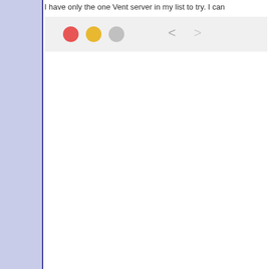I have only the one Vent server in my list to try. I can
[Figure (screenshot): macOS application window showing a title bar with three traffic light buttons (red, yellow, gray) and two navigation arrows (back and forward chevrons), with an empty white content area below. A blue/lavender sidebar is visible on the left edge.]